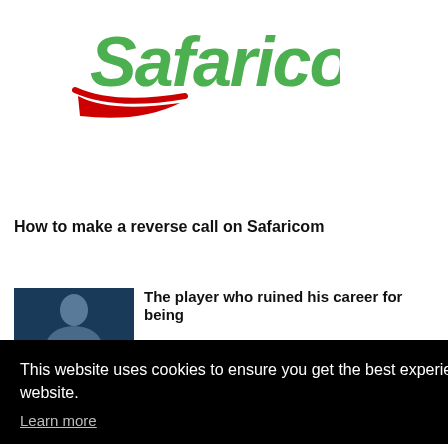[Figure (logo): Safaricom logo — green italic text 'Safaricom' with a red swoosh underneath on the left]
How to make a reverse call on Safaricom
[Figure (photo): Small thumbnail photo of a person, dark blue/teal background]
The player who ruined his career for being
This website uses cookies to ensure you get the best experience on our website.
Learn more
This website uses cookies to improve your experience. We'll assume you're ok with this, but you can opt-out if you wish.
Cookie settings
ACCEPT